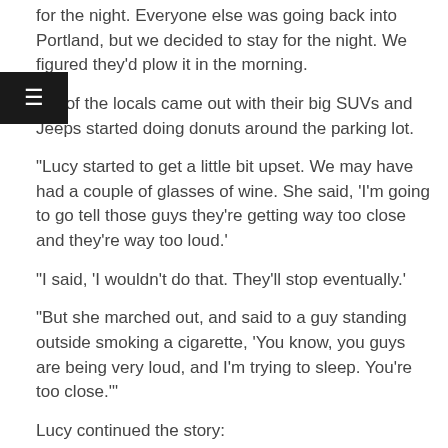for the night. Everyone else was going back into Portland, but we decided to stay for the night. We figured they'd plow it in the morning.
“All of the locals came out with their big SUVs and Jeeps started doing donuts around the parking lot.
“Lucy started to get a little bit upset. We may have had a couple of glasses of wine. She said, ‘I’m going to go tell those guys they’re getting way too close and they’re way too loud.’
“I said, ‘I wouldn’t do that. They’ll stop eventually.’
“But she marched out, and said to a guy standing outside smoking a cigarette, ‘You know, you guys are being very loud, and I’m trying to sleep. You’re too close.’”
Lucy continued the story: